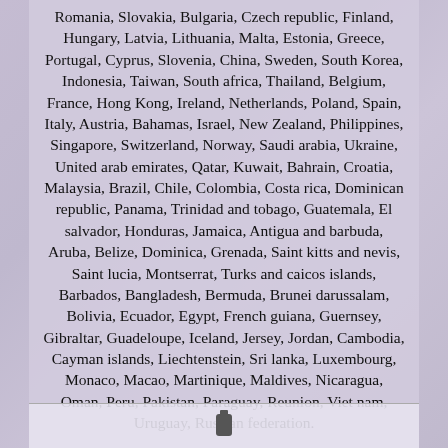Romania, Slovakia, Bulgaria, Czech republic, Finland, Hungary, Latvia, Lithuania, Malta, Estonia, Greece, Portugal, Cyprus, Slovenia, China, Sweden, South Korea, Indonesia, Taiwan, South africa, Thailand, Belgium, France, Hong Kong, Ireland, Netherlands, Poland, Spain, Italy, Austria, Bahamas, Israel, New Zealand, Philippines, Singapore, Switzerland, Norway, Saudi arabia, Ukraine, United arab emirates, Qatar, Kuwait, Bahrain, Croatia, Malaysia, Brazil, Chile, Colombia, Costa rica, Dominican republic, Panama, Trinidad and tobago, Guatemala, El salvador, Honduras, Jamaica, Antigua and barbuda, Aruba, Belize, Dominica, Grenada, Saint kitts and nevis, Saint lucia, Montserrat, Turks and caicos islands, Barbados, Bangladesh, Bermuda, Brunei darussalam, Bolivia, Ecuador, Egypt, French guiana, Guernsey, Gibraltar, Guadeloupe, Iceland, Jersey, Jordan, Cambodia, Cayman islands, Liechtenstein, Sri lanka, Luxembourg, Monaco, Macao, Martinique, Maldives, Nicaragua, Oman, Peru, Pakistan, Paraguay, Reunion, Viet nam, Uruguay, Russian federation.
Manufacturer Part Number: 4566 Interchange Part Number: T/D_4566 Warranty: Unspecified Length UPC: 86923045663 Brand: Transdapt